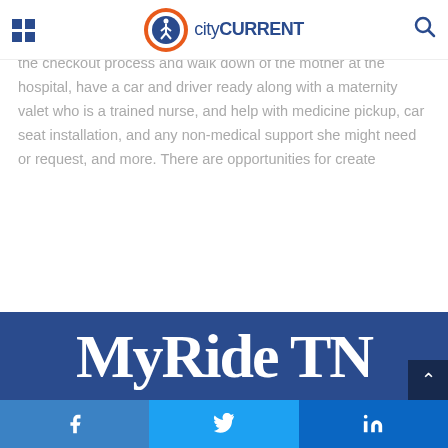cityCURRENT
they give birth, and supporting mothers through this transition by serving as a personal assistant and more. They assist with the checkout process and walk down of the mother at the hospital, have a car and driver ready along with a maternity valet who is a trained nurse, and help with medicine pickup, car seat installation, and any non-medical support she might need or request, and more. There are opportunities for create
Show More
[Figure (other): MyRide TN banner image with large white bold text on dark blue background]
Facebook | Twitter | LinkedIn social share bar